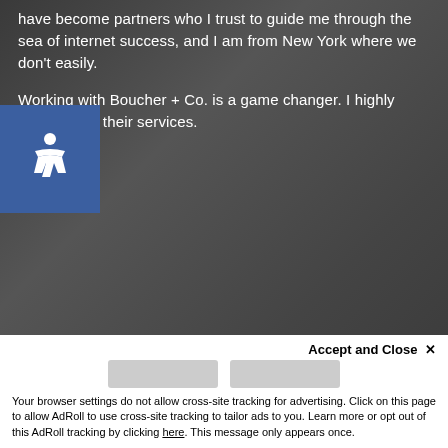[Figure (photo): Background photo of a person, dark/moody tone]
have become partners who I trust to guide me through the sea of internet success, and I am from New York where we don't easily.
Working with Boucher + Co. is a game changer. I highly recommend their services.
Jennifer G.
Small Business Owner
‹ SEE A LIST OF B+C'S RECENT CLIENTS
This site uses cookies. By continuing to browse the site, you are agreeing to our use of cookies.
Accept and Close ✕
Your browser settings do not allow cross-site tracking for advertising. Click on this page to allow AdRoll to use cross-site tracking to tailor ads to you. Learn more or opt out of this AdRoll tracking by clicking here. This message only appears once.